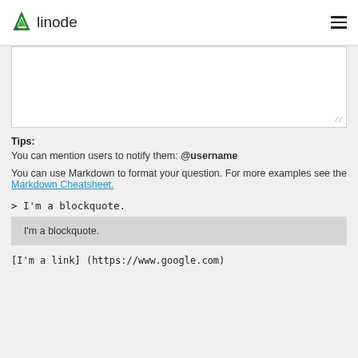linode
[Figure (other): Empty textarea input field with resize handle in bottom-right corner]
Tips:
You can mention users to notify them: @username
You can use Markdown to format your question. For more examples see the Markdown Cheatsheet.
I'm a blockquote.
[I'm a link] (https://www.google.com)